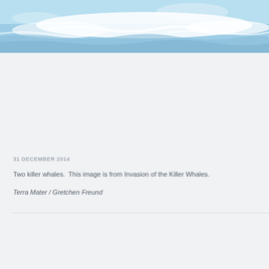[Figure (photo): Ocean waves with white foam and blue-green water, cropped at top of page]
31 DECEMBER 2014
Two killer whales.  This image is from Invasion of the Killer Whales.
Terra Mater / Gretchen Freund